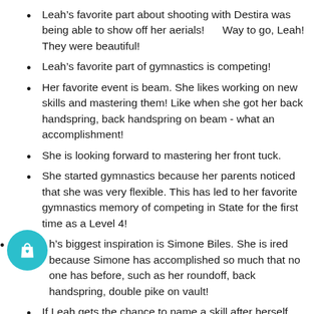Leah's favorite part about shooting with Destira was being able to show off her aerials!      Way to go, Leah! They were beautiful!
Leah's favorite part of gymnastics is competing!
Her favorite event is beam. She likes working on new skills and mastering them! Like when she got her back handspring, back handspring on beam - what an accomplishment!
She is looking forward to mastering her front tuck.
She started gymnastics because her parents noticed that she was very flexible. This has led to her favorite gymnastics memory of competing in State for the first time as a Level 4!
Leah's biggest inspiration is Simone Biles. She is inspired because Simone has accomplished so much that no one has before, such as her roundoff, back handspring, double pike on vault!
If Leah gets the chance to name a skill after herself